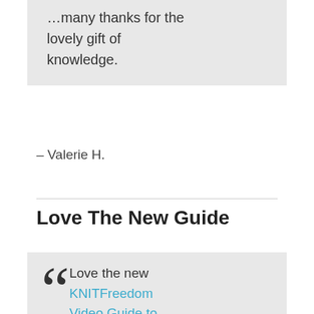many thanks for the lovely gift of knowledge.
– Valerie H.
Love The New Guide
Love the new KNITFreedom Video Guide to Cast-Ons, I have used several new ones in my knitting